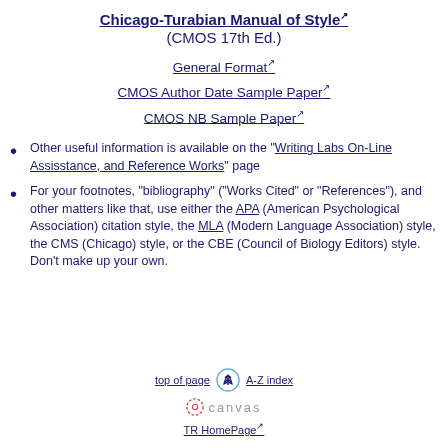Chicago-Turabian Manual of Style (CMOS 17th Ed.)
General Format
CMOS Author Date Sample Paper
CMOS NB Sample Paper
Other useful information is available on the "Writing Labs On-Line Assisstance, and Reference Works" page
For your footnotes, "bibliography" ("Works Cited" or "References"), and other matters like that, use either the APA (American Psychological Association) citation style, the MLA (Modern Language Association) style, the CMS (Chicago) style, or the CBE (Council of Biology Editors) style. Don't make up your own.
top of page   A-Z index   canvas   TR HomePage